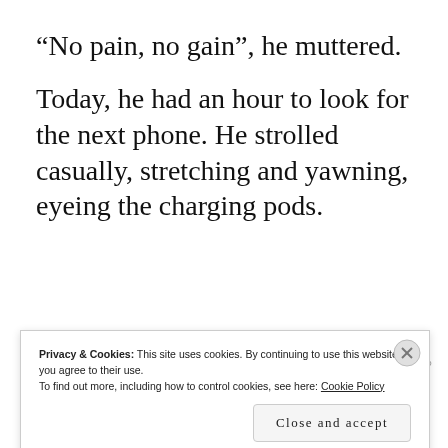“No pain, no gain”, he muttered.
Today, he had an hour to look for the next phone. He strolled casually, stretching and yawning, eyeing the charging pods.
[Figure (other): Partial advertisement banner with dark navy background showing text 'we all have them!' with a logo icon, partially cut off at top]
REPORT THIS AD
Privacy & Cookies: This site uses cookies. By continuing to use this website, you agree to their use.
To find out more, including how to control cookies, see here: Cookie Policy
Close and accept